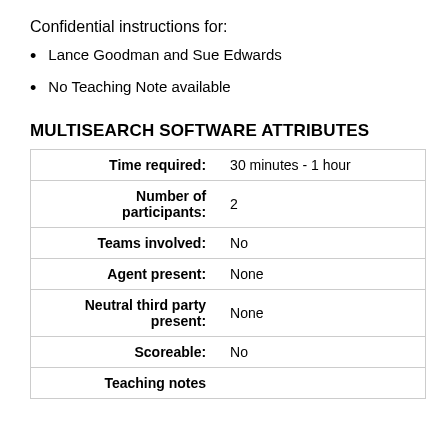Confidential instructions for:
Lance Goodman and Sue Edwards
No Teaching Note available
MULTISEARCH SOFTWARE ATTRIBUTES
| Attribute | Value |
| --- | --- |
| Time required: | 30 minutes - 1 hour |
| Number of participants: | 2 |
| Teams involved: | No |
| Agent present: | None |
| Neutral third party present: | None |
| Scoreable: | No |
| Teaching notes |  |